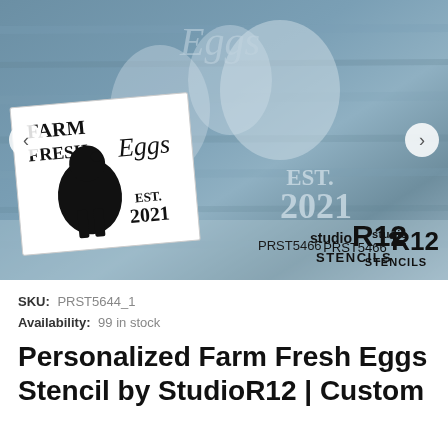[Figure (photo): Product photo showing StudioR12 farm fresh eggs stencils. A dark blue-grey woodgrain board with white stenciled chicken and 'EST. 2021' text, and a white paper stencil card with 'FARM FRESH Eggs EST. 2021' and a chicken silhouette. PRST5466 and StudioR12 Stencils branding at bottom right. Navigation arrows on left and right.]
SKU:  PRST5644_1
Availability:  99 in stock
Personalized Farm Fresh Eggs Stencil by StudioR12 | Custom